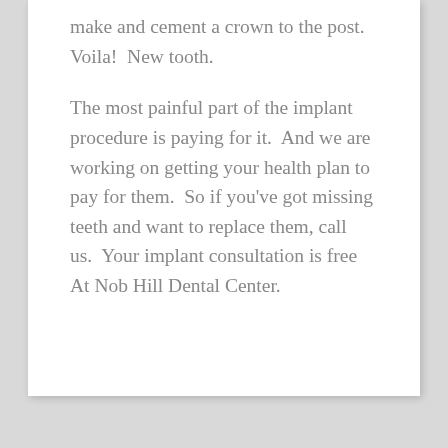make and cement a crown to the post.  Voila!  New tooth.
The most painful part of the implant procedure is paying for it.  And we are working on getting your health plan to pay for them.  So if you've got missing teeth and want to replace them, call us.  Your implant consultation is free At Nob Hill Dental Center.